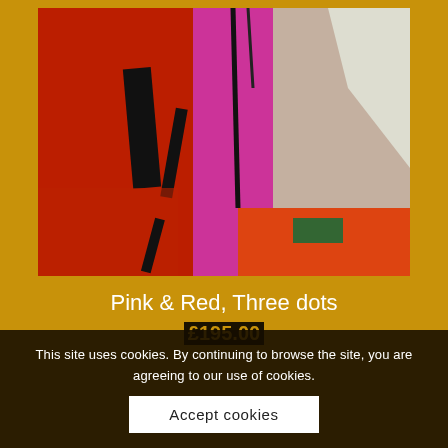[Figure (photo): Close-up photograph of a colorful mixed-media artwork featuring red, pink/magenta, and white layered fabric or paper with black brushstroke marks.]
Pink & Red, Three dots
£195.00
This site uses cookies. By continuing to browse the site, you are agreeing to our use of cookies.
Accept cookies